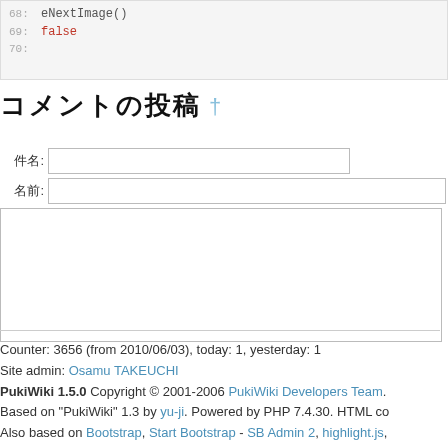[Figure (screenshot): Code block showing line numbers 68-70 with 'eNextImage()' and 'false' in syntax-highlighted monospace font]
コメントの投稿 †
件名: [input field]
名前: [input field]
[textarea]
Counter: 3656 (from 2010/06/03), today: 1, yesterday: 1
Site admin: Osamu TAKEUCHI
PukiWiki 1.5.0 Copyright © 2001-2006 PukiWiki Developers Team.
Based on "PukiWiki" 1.3 by yu-ji. Powered by PHP 7.4.30. HTML co
Also based on Bootstrap, Start Bootstrap - SB Admin 2, highlight.js,